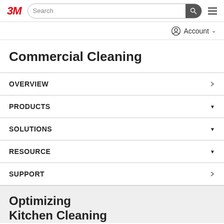[Figure (logo): 3M logo in red italic bold text]
Search | Account
Commercial Cleaning
OVERVIEW
PRODUCTS
SOLUTIONS
RESOURCE
SUPPORT
Optimizing Kitchen Cleaning